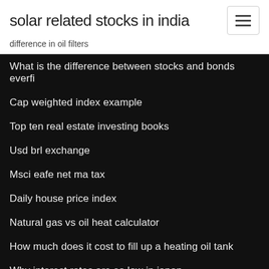solar related stocks in india
difference in oil filters
What is the difference between stocks and bonds everfi
Cap weighted index example
Top ten real estate investing books
Usd brl exchange
Msci eafe net ma tax
Daily house price index
Natural gas vs oil heat calculator
How much does it cost to fill up a heating oil tank
Why interest rates are so low in japan
Investment in oil field